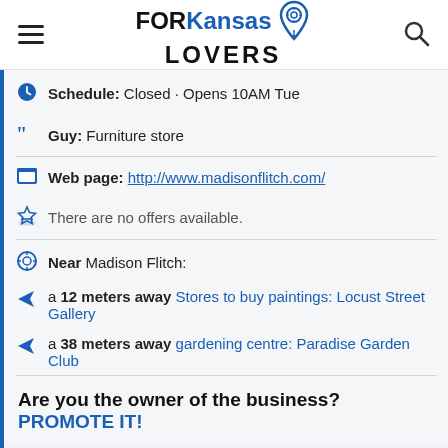FORKansasLOVERS
Schedule: Closed · Opens 10AM Tue
Guy: Furniture store
Web page: http://www.madisonflitch.com/
There are no offers available.
Near Madison Flitch:
a 12 meters away Stores to buy paintings: Locust Street Gallery
a 38 meters away gardening centre: Paradise Garden Club
Are you the owner of the business? PROMOTE IT!